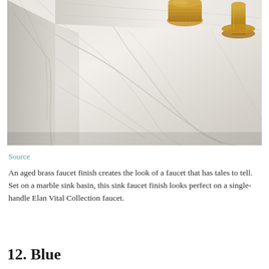[Figure (photo): Close-up photograph of a white marble sink basin with brass faucet hardware. The marble has grey veining throughout. Gold/brass knurled faucet handles are visible at the top of the image against the marble surface.]
Source
An aged brass faucet finish creates the look of a faucet that has tales to tell. Set on a marble sink basin, this sink faucet finish looks perfect on a single-handle Elan Vital Collection faucet.
12. Blue